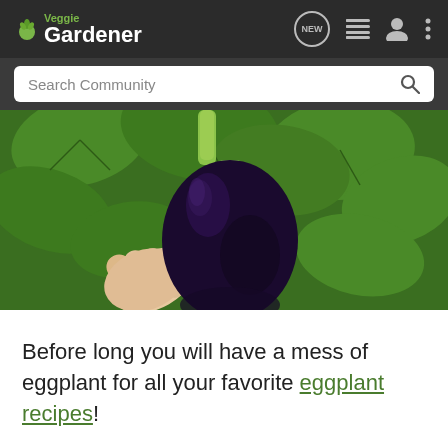VeggieGardener — navigation bar with NEW, list, user, and menu icons
Search Community
[Figure (photo): A hand holding a large, dark purple globe eggplant in front of green eggplant plant leaves in a garden.]
Before long you will have a mess of eggplant for all your favorite eggplant recipes!